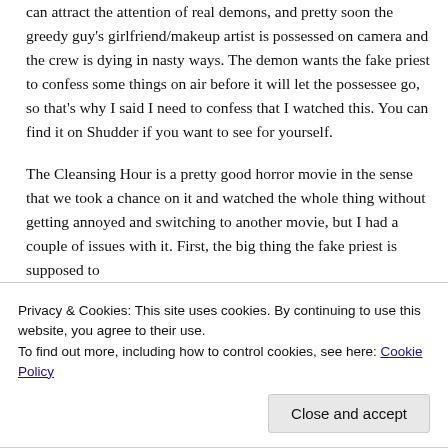can attract the attention of real demons, and pretty soon the greedy guy's girlfriend/makeup artist is possessed on camera and the crew is dying in nasty ways. The demon wants the fake priest to confess some things on air before it will let the possessee go, so that's why I said I need to confess that I watched this. You can find it on Shudder if you want to see for yourself.
The Cleansing Hour is a pretty good horror movie in the sense that we took a chance on it and watched the whole thing without getting annoyed and switching to another movie, but I had a couple of issues with it. First, the big thing the fake priest is supposed to
Privacy & Cookies: This site uses cookies. By continuing to use this website, you agree to their use.
To find out more, including how to control cookies, see here: Cookie Policy
Close and accept